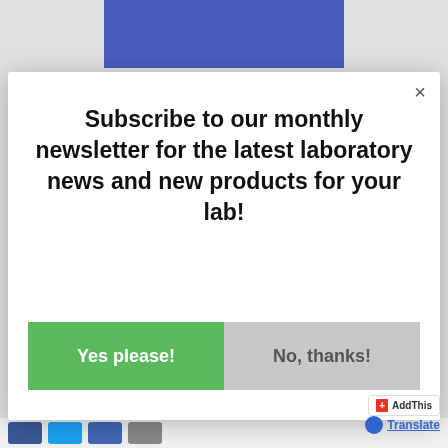[Figure (screenshot): Blue header bar partially visible at top of page, behind modal dialog]
Subscribe to our monthly newsletter for the latest laboratory news and new products for your lab!
Yes please!
No, thanks!
[Figure (screenshot): Bottom social sharing bar with Facebook, Twitter, and other social media icons]
AddThis
Translate